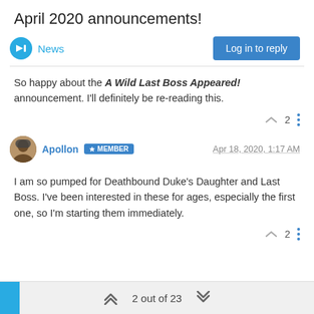April 2020 announcements!
News
Log in to reply
So happy about the A Wild Last Boss Appeared! announcement. I'll definitely be re-reading this.
Apollon  MEMBER  Apr 18, 2020, 1:17 AM
I am so pumped for Deathbound Duke's Daughter and Last Boss. I've been interested in these for ages, especially the first one, so I'm starting them immediately.
2 out of 23